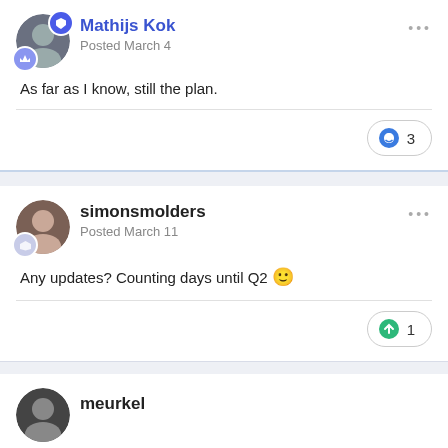Mathijs Kok
Posted March 4
As far as I know, still the plan.
❤ 3
simonsmolders
Posted March 11
Any updates? Counting days until Q2 🙂
↑ 1
meurkel